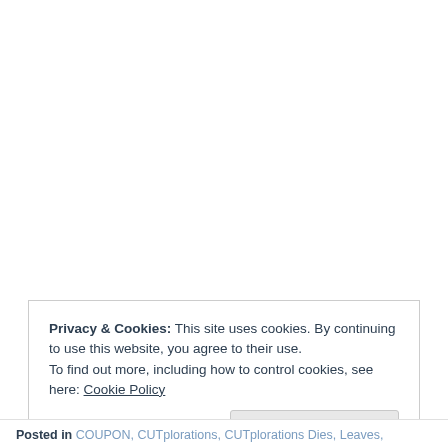Privacy & Cookies: This site uses cookies. By continuing to use this website, you agree to their use.
To find out more, including how to control cookies, see here: Cookie Policy
Close and accept
Posted in COUPON, CUTplorations, CUTplorations Dies, Leaves,